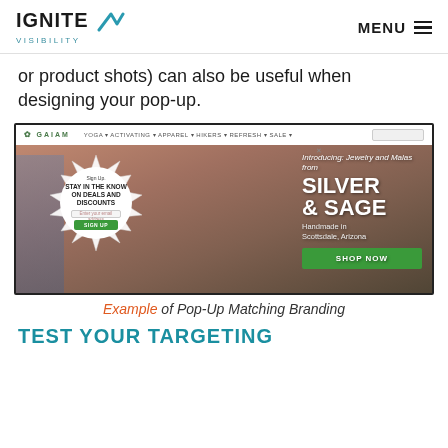IGNITE VISIBILITY | MENU
or product shots) can also be useful when designing your pop-up.
[Figure (screenshot): Screenshot of a Gaiam website page showing a pop-up with 'Sign Up. STAY IN THE KNOW ON DEALS AND DISCOUNTS' over a background image of a woman, with right side text 'Introducing: Jewelry and Malas from SILVER & SAGE Handmade in Scottsdale, Arizona' and a green SHOP NOW button.]
Example of Pop-Up Matching Branding
TEST YOUR TARGETING